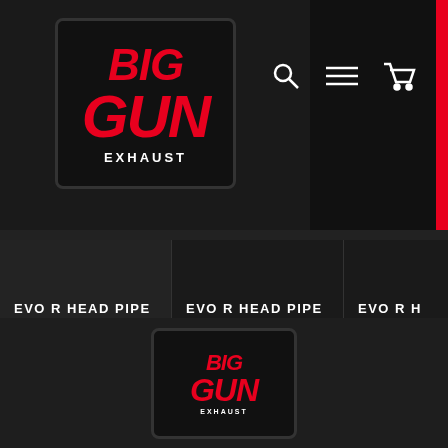[Figure (logo): Big Gun Exhaust logo - red bold italic text on black background with border]
[Figure (other): Navigation icons: search (magnifying glass), hamburger menu, and shopping cart in white]
EVO R HEAD PIPE - SUZUKI DR-Z 400E (00-07)
$253.99
EVO R HEAD PIPE - KAWASAKI KLX 400R (03-07)
$230.00
EVO R HEAD PIPE - H TRX 400 (99-14)
$308
[Figure (logo): Big Gun Exhaust logo partial - footer version]